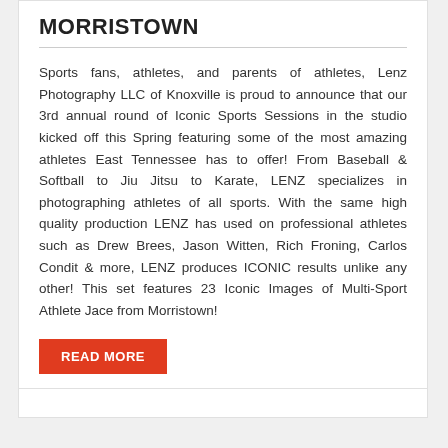MORRISTOWN
Sports fans, athletes, and parents of athletes, Lenz Photography LLC of Knoxville is proud to announce that our 3rd annual round of Iconic Sports Sessions in the studio kicked off this Spring featuring some of the most amazing athletes East Tennessee has to offer! From Baseball & Softball to Jiu Jitsu to Karate, LENZ specializes in photographing athletes of all sports. With the same high quality production LENZ has used on professional athletes such as Drew Brees, Jason Witten, Rich Froning, Carlos Condit & more, LENZ produces ICONIC results unlike any other! This set features 23 Iconic Images of Multi-Sport Athlete Jace from Morristown!
READ MORE